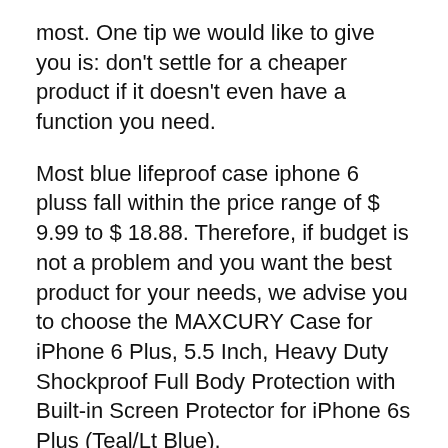most. One tip we would like to give you is: don't settle for a cheaper product if it doesn't even have a function you need.
Most blue lifeproof case iphone 6 pluss fall within the price range of $ 9.99 to $ 18.88. Therefore, if budget is not a problem and you want the best product for your needs, we advise you to choose the MAXCURY Case for iPhone 6 Plus, 5.5 Inch, Heavy Duty Shockproof Full Body Protection with Built-in Screen Protector for iPhone 6s Plus (Teal/Lt Blue).
If you want something medium range, choose CellEver Waterproof Case for iPhone 6 / iPhone 6s, 4.7-Inch, Waterproof IP68 Certified Shockproof Sandproof Snowproof